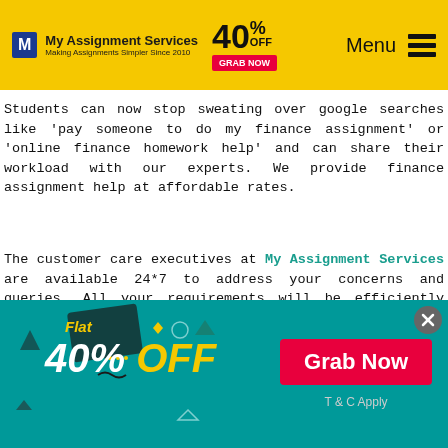My Assignment Services — 40% OFF — Menu
Students can now stop sweating over google searches like 'pay someone to do my finance assignment' or 'online finance homework help' and can share their workload with our experts. We provide finance assignment help at affordable rates.
The customer care executives at My Assignment Services are available 24*7 to address your concerns and queries. All your requirements will be efficiently communicated to the experts. In case you need guidance, we can provides one-on-one consultation sessions with our finance
[Figure (infographic): Teal promotional banner with 'Flat 40% OFF' in yellow/white italic text on the left with decorative shapes, and a red 'Grab Now' button on the right, plus 'T & C Apply' text. Close button in top-right corner.]